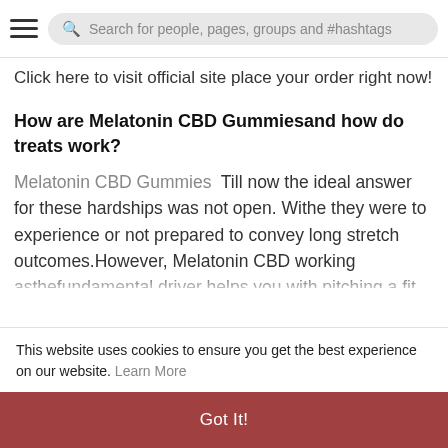Search for people, pages, groups and #hashtags
Click here to visit official site place your order right now!
How are Melatonin CBD Gummiesand how do treats work?
Melatonin CBD Gummies  Till now the ideal answer for these hardships was not open. Withe they were to experience or not prepared to convey long stretch outcomes.However, Melatonin CBD working asthefundamental driver helps you with pitching a fit body at each age. A greater number of the USA
This website uses cookies to ensure you get the best experience on our website. Learn More
Got It!